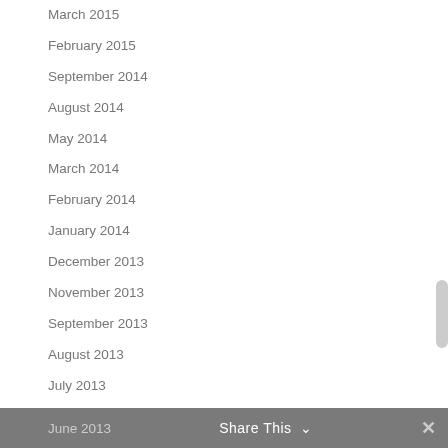March 2015
February 2015
September 2014
August 2014
May 2014
March 2014
February 2014
January 2014
December 2013
November 2013
September 2013
August 2013
July 2013
June 2013    Share This   ✕